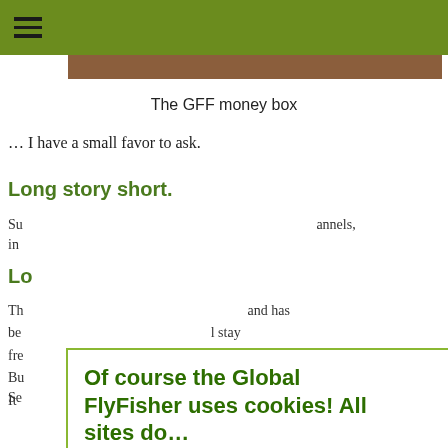The GFF money box
… I have a small favor to ask.
Long story short.
Su... annels, in...
Lo...
Th... and has be... l stay fre... Bu... It...
Se... g post.
[Figure (screenshot): Cookie consent modal overlay with title 'Of course the Global FlyFisher uses cookies! All sites do...' and body text explaining cookies, with two buttons: 'More about privacy and cookies' and 'OK, I agree']